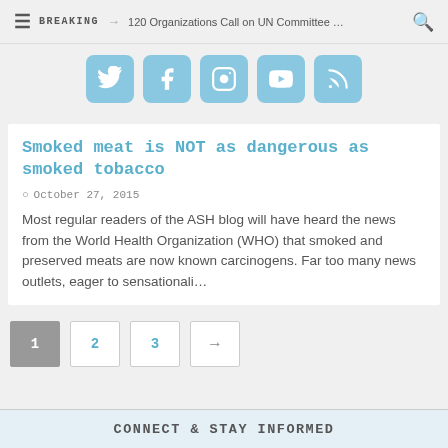≡  BREAKING → 120 Organizations Call on UN Committee …  🔍
[Figure (infographic): Row of five social media icon buttons (Twitter, Facebook, Instagram, YouTube, RSS) with light blue rounded square backgrounds]
Smoked meat is NOT as dangerous as smoked tobacco
October 27, 2015
Most regular readers of the ASH blog will have heard the news from the World Health Organization (WHO) that smoked and preserved meats are now known carcinogens. Far too many news outlets, eager to sensationali…
Pagination: 1  2  3  →
CONNECT & STAY INFORMED